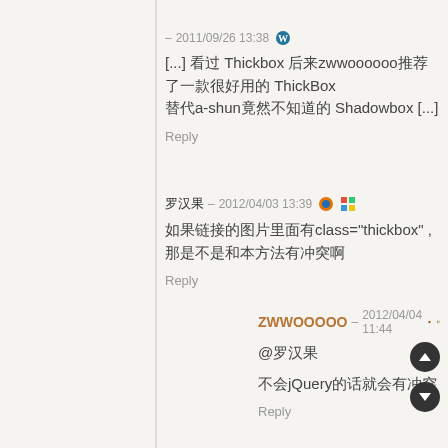– 2011/09/26 13:38 [WordPress icon]
[...] 看过 Thickbox 后来zwwoooooo推荐了一款很好用的 ThickBox 替代a-shun竟然不知道的 Shadowbox [...]
Reply
罗汉果 – 2012/04/03 13:39 [Firefox icon] [Windows icon]
如果链接的图片里面有class="thickbox" ,那是不是和本方法有冲突啊
Reply
ZWWOOOOO – 2012/04/04 11:44 [Firefox icon] [Windows icon]
@罗汉果
不会jQuery的话就会有冲突
Reply